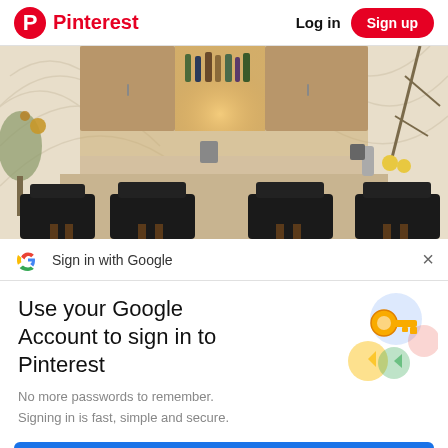Pinterest  Log in  Sign up
[Figure (photo): Interior bar scene with black bar stools, wood cabinetry, bottles on shelves, warm lighting, and decorative plants on sides]
Sign in with Google
Use your Google Account to sign in to Pinterest
No more passwords to remember. Signing in is fast, simple and secure.
[Figure (illustration): Google key illustration with colorful circles (blue, yellow, green, pink) and a gold key]
Continue